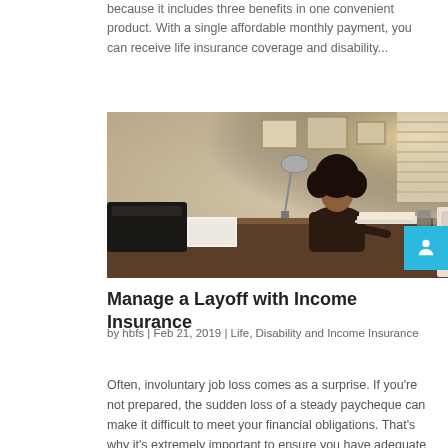because it includes three benefits in one convenient product. With a single affordable monthly payment, you can receive life insurance coverage and disability...
[Figure (photo): Woman with curly hair sitting at a desk writing, with papers, books, pen holders and office supplies around her. Warm sunlight coming through window blinds in background. Home office setting.]
Manage a Layoff with Income Insurance
by hbfs | Feb 21, 2019 | Life, Disability and Income Insurance
Often, involuntary job loss comes as a surprise. If you're not prepared, the sudden loss of a steady paycheque can make it difficult to meet your financial obligations. That's why it's extremely important to ensure you have adequate